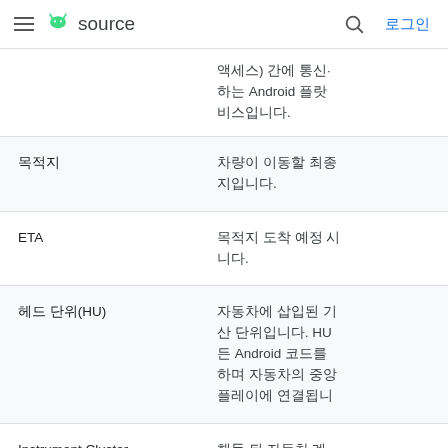≡ [android logo] source  🔍  로그인
| 용어 | 설명 |
| --- | --- |
|  | 액세스) 간에 통신하는 Android 플랫비스입니다. |
| 목적지 | 차량이 이동할 최종지입니다. |
| ETA | 목적지 도착 예정 시니다. |
| 헤드 단위(HU) | 자동차에 삽입된 기산 단위입니다. HU든 Android 코드를 하며 자동차의 중앙플레이에 연결됩니 |
| Instrument Cluster | 핸들 뒤 자동차 계에 있는 보조 디스 |